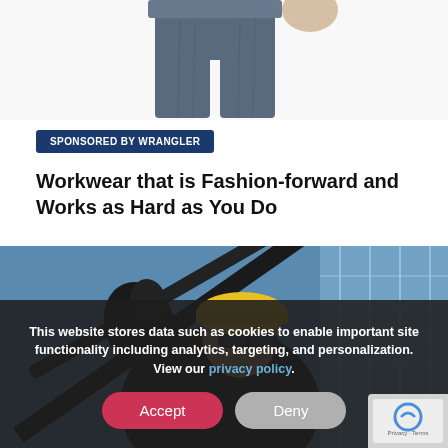[Figure (photo): Photo of person wearing dark jeans, lower body visible from waist down, white background]
SPONSORED BY WRANGLER
Workwear that is Fashion-forward and Works as Hard as You Do
[Figure (photo): Construction worker wearing yellow hard hat and sunglasses, looking upward near a glass building, dark jacket and gloves]
This website stores data such as cookies to enable important site functionality including analytics, targeting, and personalization. View our privacy policy.